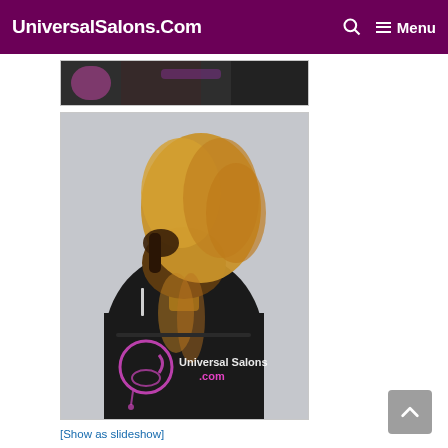UniversalSalons.Com  [search icon]  ☰ Menu
[Figure (photo): Cropped top portion of a photo showing a person with colorful hair accessories against a dark background]
[Figure (photo): Back view of a woman with curly blonde updo hairstyle wearing a black leather jacket, with Universal Salons .com watermark in pink/white]
[Show as slideshow]